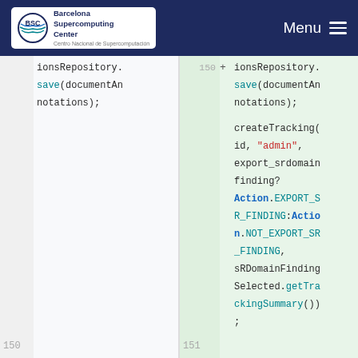[Figure (screenshot): BSC Barcelona Supercomputing Center logo in white navbar with Menu hamburger icon]
Code diff view showing two panels side by side. Left panel shows line 150 with code: ionsRepository.save(documentAnnotations); Right panel shows line 150-151 with added code block (green highlighted): + createTracking(id, "admin", export_srdomain finding? Action.EXPORT_SR_FINDING:Action.NOT_EXPORT_SR_FINDING, sRDomainFindingSelected.getTrackingSummary());